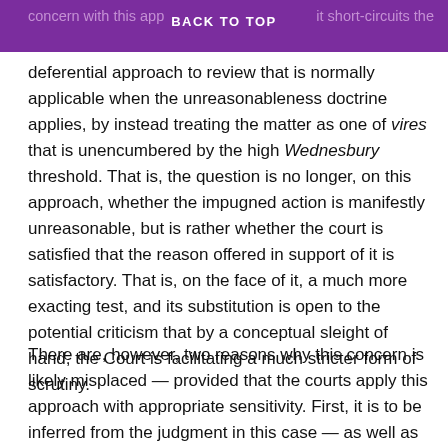concern with this approach is that it short-circuits the BACK TO TOP
deferential approach to review that is normally applicable when the unreasonableness doctrine applies, by instead treating the matter as one of vires that is unencumbered by the high Wednesbury threshold. That is, the question is no longer, on this approach, whether the impugned action is manifestly unreasonable, but is rather whether the court is satisfied that the reason offered in support of it is satisfactory. That is, on the face of it, a much more exacting test, and its substitution is open to the potential criticism that by a conceptual sleight of hand, the Court is facilitating a much stricter form of scrutiny.
There are, however, two reasons why this concern is likely misplaced — provided that the courts apply this approach with appropriate sensitivity. First, it is to be inferred from the judgment in this case — as well as